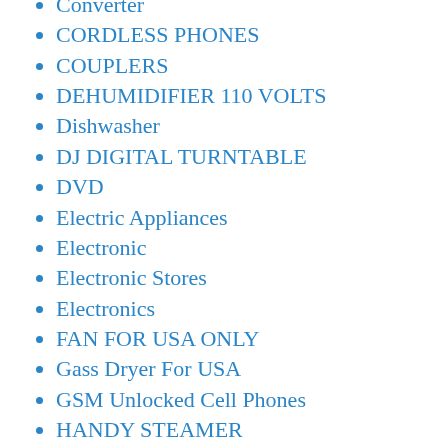Converter
CORDLESS PHONES
COUPLERS
DEHUMIDIFIER 110 VOLTS
Dishwasher
DJ DIGITAL TURNTABLE
DVD
Electric Appliances
Electronic
Electronic Stores
Electronics
FAN FOR USA ONLY
Gass Dryer For USA
GSM Unlocked Cell Phones
HANDY STEAMER
Home Audio Video 110 Volts
Home Security